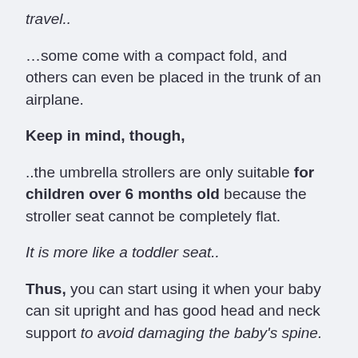travel..
…some come with a compact fold, and others can even be placed in the trunk of an airplane.
Keep in mind, though,
..the umbrella strollers are only suitable for children over 6 months old because the stroller seat cannot be completely flat.
It is more like a toddler seat..
Thus, you can start using it when your baby can sit upright and has good head and neck support to avoid damaging the baby's spine.
All things considered,